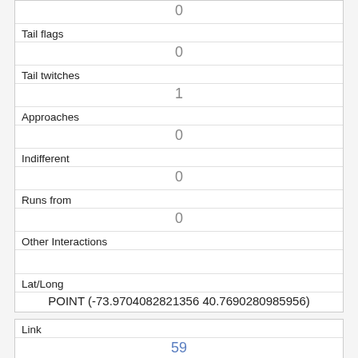|  | 0 |
| Tail flags | 0 |
| Tail twitches | 1 |
| Approaches | 0 |
| Indifferent | 0 |
| Runs from | 0 |
| Other Interactions |  |
| Lat/Long | POINT (-73.9704082821356 40.7690280985956) |
| Link | 59 |
| rowid | 59 |
| longitude |  |